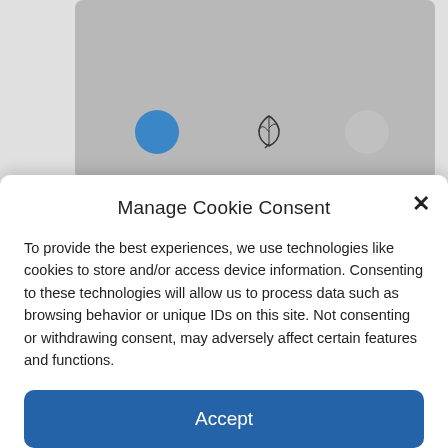[Figure (screenshot): Background showing a gray card with icons (blue circle, leaf icon, gray circle) behind the cookie consent modal]
Manage Cookie Consent
To provide the best experiences, we use technologies like cookies to store and/or access device information. Consenting to these technologies will allow us to process data such as browsing behavior or unique IDs on this site. Not consenting or withdrawing consent, may adversely affect certain features and functions.
Accept
Deny
View preferences
Datenschutzerklärung  Datenschutzerklärung  Datenschutzerklärung